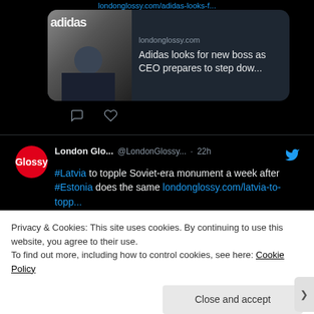londonglossy.com/adidas-looks-f...
[Figure (screenshot): Article card showing Adidas logo and a man in a blue hoodie with arms crossed, with text: londonglossy.com / Adidas looks for new boss as CEO prepares to step dow...]
[Figure (screenshot): Twitter/X post by London Glo... @LondonGlossy... 22h: #Latvia to topple Soviet-era monument a week after #Estonia does the same londonglossy.com/latvia-to-topp...]
[Figure (screenshot): Partial article card showing londonglossy.com with a blue sky image]
Privacy & Cookies: This site uses cookies. By continuing to use this website, you agree to their use.
To find out more, including how to control cookies, see here: Cookie Policy
Close and accept